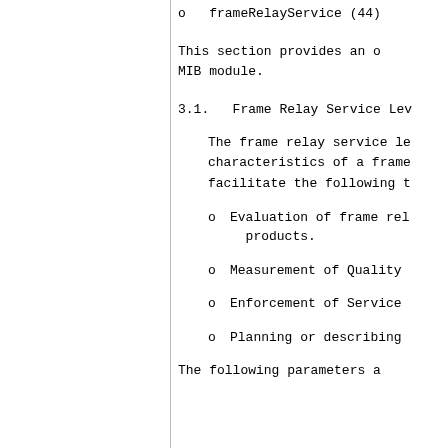o   frameRelayService (44)
This section provides an overview of the MIB module.
3.1.   Frame Relay Service Level...
The frame relay service level characteristics of a frame relay service facilitate the following types of activities:
o   Evaluation of frame relay products.
o   Measurement of Quality...
o   Enforcement of Service...
o   Planning or describing...
The following parameters a...